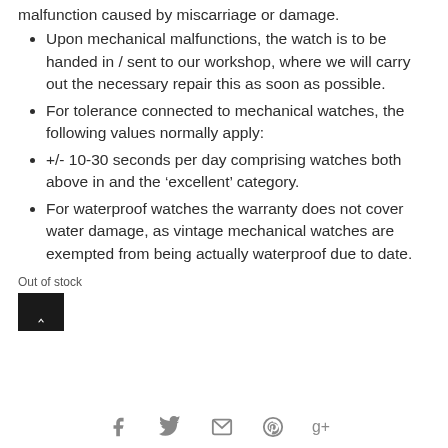malfunction caused by miscarriage or damage.
Upon mechanical malfunctions, the watch is to be handed in / sent to our workshop, where we will carry out the necessary repair this as soon as possible.
For tolerance connected to mechanical watches, the following values normally apply:
+/- 10-30 seconds per day comprising watches both above in and the ‘excellent’ category.
For waterproof watches the warranty does not cover water damage, as vintage mechanical watches are exempted from being actually waterproof due to date.
Out of stock
[Figure (other): Back to top button (dark square with upward chevron) and social media sharing icons: Facebook, Twitter, email, Pinterest, Google+]